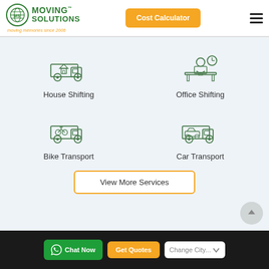[Figure (logo): Moving Solutions logo with globe icon, green text, tagline 'moving memories since 2006']
[Figure (other): Orange 'Cost Calculator' button in header]
[Figure (other): Hamburger menu icon (three horizontal lines)]
[Figure (other): House Shifting icon - green truck with house]
House Shifting
[Figure (other): Office Shifting icon - person at desk with clock]
Office Shifting
[Figure (other): Bike Transport icon - truck with motorcycle]
Bike Transport
[Figure (other): Car Transport icon - truck with car]
Car Transport
[Figure (other): View More Services button with orange border]
[Figure (other): Scroll-to-top circular button]
[Figure (other): Footer bar with Chat Now (green), Get Quotes (orange), Change City dropdown]